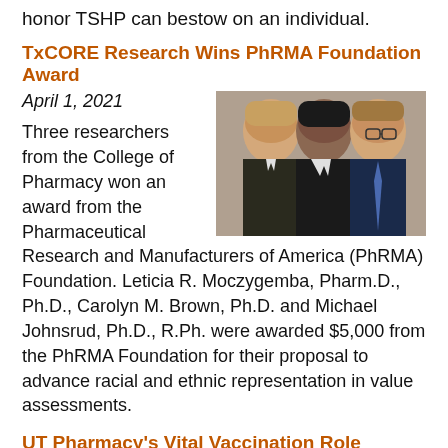honor TSHP can bestow on an individual.
TxCORE Research Wins PhRMA Foundation Award
April 1, 2021
[Figure (photo): Photo of three researchers from the College of Pharmacy: two women and one man, posing together]
Three researchers from the College of Pharmacy won an award from the Pharmaceutical Research and Manufacturers of America (PhRMA) Foundation. Leticia R. Moczygemba, Pharm.D., Ph.D., Carolyn M. Brown, Ph.D. and Michael Johnsrud, Ph.D., R.Ph. were awarded $5,000 from the PhRMA Foundation for their proposal to advance racial and ethnic representation in value assessments.
UT Pharmacy's Vital Vaccination Role
January 15, 2021
[Figure (photo): Photo of pharmacy staff/students in white coats with masks, posing together near boxes]
Dean Sam Poloyac discusses the college's